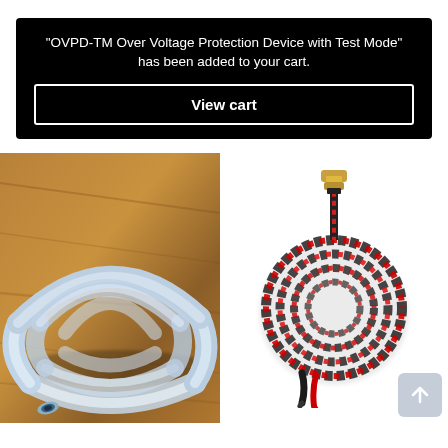"OVPD-TM Over Voltage Protection Device with Test Mode" has been added to your cart.
View cart
[Figure (photo): Coiled semi-transparent silicone tubing on a wooden surface]
[Figure (photo): Red and black twisted wire coil with a connector/plug at one end]